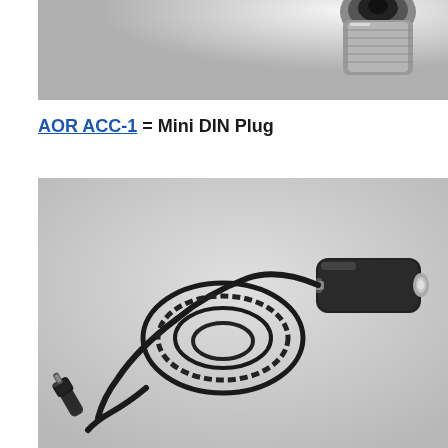[Figure (photo): Partial view of a connector/plug shown from above against a white background, appears to be the end of a Mini DIN plug or similar connector]
AOR ACC-1 = Mini DIN Plug
[Figure (photo): A car cigarette lighter power cable adapter with a right-angle DC barrel connector on one end and a car lighter plug on the other end, coiled black cable, on a gray background]